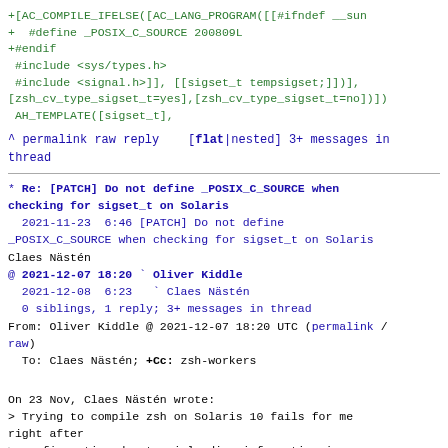+[AC_COMPILE_IFELSE([AC_LANG_PROGRAM([[#ifndef __sun
+  #define _POSIX_C_SOURCE 200809L
+#endif
 #include <sys/types.h>
 #include <signal.h>]], [[sigset_t tempsigset;]])],
[zsh_cv_type_sigset_t=yes],[zsh_cv_type_sigset_t=no])])
 AH_TEMPLATE([sigset_t],
^ permalink raw reply    [flat|nested] 3+ messages in thread
* Re: [PATCH] Do not define _POSIX_C_SOURCE when checking for sigset_t on Solaris
  2021-11-23  6:46 [PATCH] Do not define _POSIX_C_SOURCE when checking for sigset_t on Solaris Claes Nästén
@ 2021-12-07 18:20 ` Oliver Kiddle
  2021-12-08  6:23   ` Claes Nästén
  0 siblings, 1 reply; 3+ messages in thread
From: Oliver Kiddle @ 2021-12-07 18:20 UTC (permalink / raw)
  To: Claes Nästén; +Cc: zsh-workers
On 23 Nov, Claes Nästén wrote:
> Trying to compile zsh on Solaris 10 fails for me right after
> configuration due to misleading information in